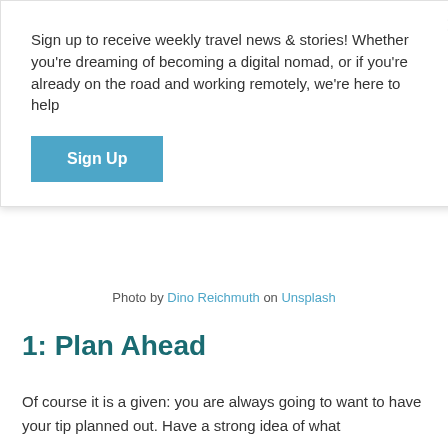Sign up to receive weekly travel news & stories! Whether you're dreaming of becoming a digital nomad, or if you're already on the road and working remotely, we're here to help
Sign Up
Photo by Dino Reichmuth on Unsplash
1: Plan Ahead
Of course it is a given: you are always going to want to have your tip planned out. Have a strong idea of what